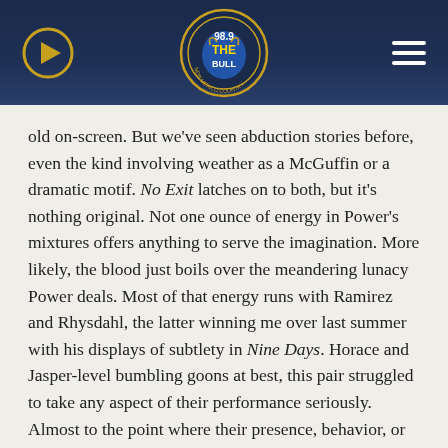[Figure (screenshot): Radio station 98.9 The Bull website header with play button on left, logo in center, and hamburger menu on right, on a dark navy blue background]
old on-screen. But we've seen abduction stories before, even the kind involving weather as a McGuffin or a dramatic motif. No Exit latches on to both, but it's nothing original. Not one ounce of energy in Power's mixtures offers anything to serve the imagination. More likely, the blood just boils over the meandering lunacy Power deals. Most of that energy runs with Ramirez and Rhysdahl, the latter winning me over last summer with his displays of subtlety in Nine Days. Horace and Jasper-level bumbling goons at best, this pair struggled to take any aspect of their performance seriously. Almost to the point where their presence, behavior, or depiction of any manner of mental ambivalence was nothing more than an insult.